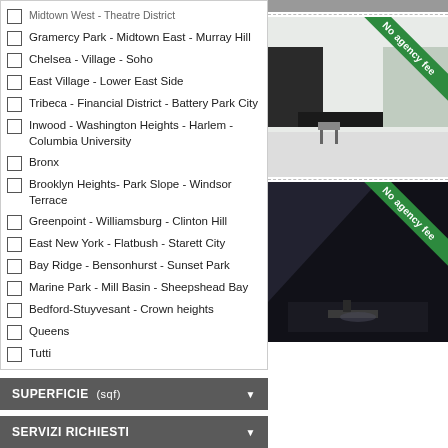Midtown West - Theatre District
Gramercy Park - Midtown East - Murray Hill
Chelsea - Village - Soho
East Village - Lower East Side
Tribeca - Financial District - Battery Park City
Inwood - Washington Heights - Harlem - Columbia University
Bronx
Brooklyn Heights- Park Slope - Windsor Terrace
Greenpoint - Williamsburg - Clinton Hill
East New York - Flatbush - Starett City
Bay Ridge - Bensonhurst - Sunset Park
Marine Park - Mill Basin - Sheepshead Bay
Bedford-Stuyvesant - Crown heights
Queens
Tutti
SUPERFICIE  (sqf)
SERVIZI RICHIESTI
[Figure (photo): Interior room photo with plants and furniture, 'No agency fee' green diagonal badge]
[Figure (photo): Dark interior photo with furniture, 'No agency fee' green diagonal badge]